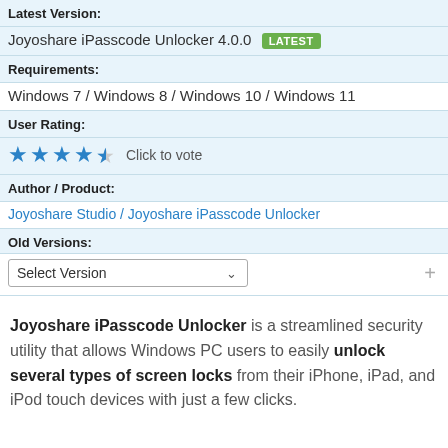Latest Version:
Joyoshare iPasscode Unlocker 4.0.0  LATEST
Requirements:
Windows 7 / Windows 8 / Windows 10 / Windows 11
User Rating:
★★★★½  Click to vote
Author / Product:
Joyoshare Studio / Joyoshare iPasscode Unlocker
Old Versions:
Select Version
Joyoshare iPasscode Unlocker is a streamlined security utility that allows Windows PC users to easily unlock several types of screen locks from their iPhone, iPad, and iPod touch devices with just a few clicks.